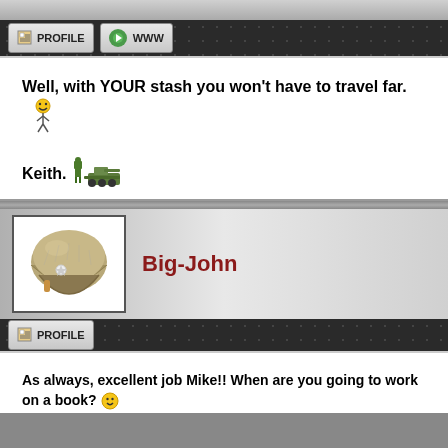[Figure (screenshot): Toolbar with PROFILE and WWW buttons on dark honeycomb background]
Well, with YOUR stash you won't have to travel far. [smiley emoticon]
Keith. [soldier and tank emoticons]
[Figure (photo): Military helmet avatar for user Big-John]
Big-John
[Figure (screenshot): Toolbar with PROFILE button on dark honeycomb background]
As always, excellent job Mike!! When are you going to work on a book?